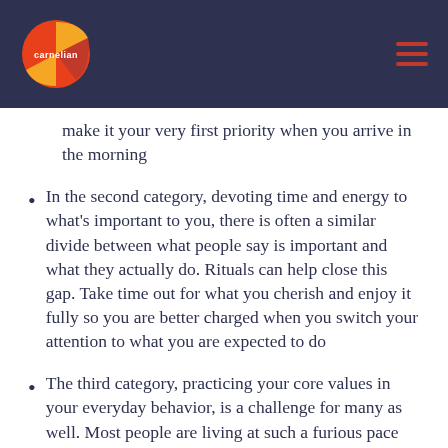carnelian
make it your very first priority when you arrive in the morning
In the second category, devoting time and energy to what's important to you, there is often a similar divide between what people say is important and what they actually do. Rituals can help close this gap. Take time out for what you cherish and enjoy it fully so you are better charged when you switch your attention to what you are expected to do
The third category, practicing your core values in your everyday behavior, is a challenge for many as well. Most people are living at such a furious pace that they